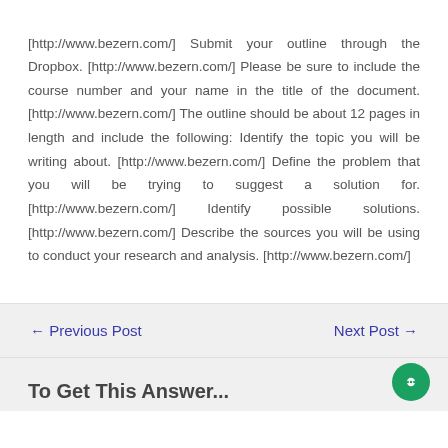[http://www.bezern.com/] Submit your outline through the Dropbox. [http://www.bezern.com/] Please be sure to include the course number and your name in the title of the document. [http://www.bezern.com/] The outline should be about 12 pages in length and include the following: Identify the topic you will be writing about. [http://www.bezern.com/] Define the problem that you will be trying to suggest a solution for. [http://www.bezern.com/] Identify possible solutions. [http://www.bezern.com/] Describe the sources you will be using to conduct your research and analysis. [http://www.bezern.com/]
← Previous Post    Next Post →
To Get This Answer...